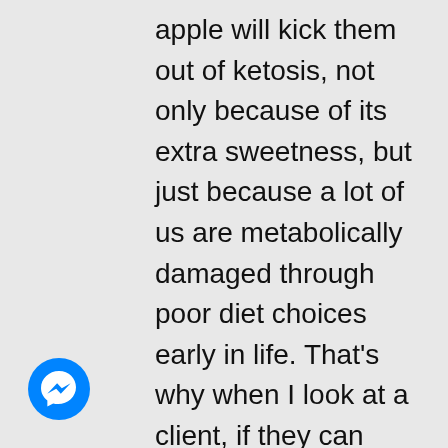apple will kick them out of ketosis, not only because of its extra sweetness, but just because a lot of us are metabolically damaged through poor diet choices early in life. That’s why when I look at a client, if they can handle a sweet potato here and there, then I will recommend that. Most of
[Figure (logo): Facebook Messenger blue circle icon with white lightning bolt / speech bubble logo]